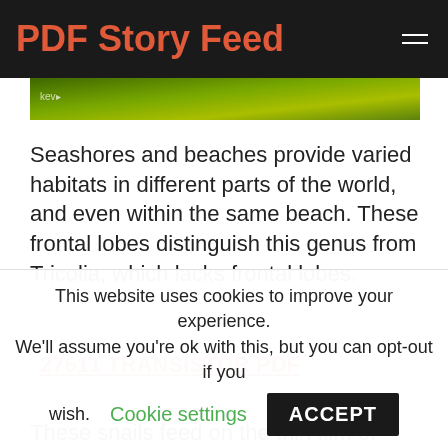PDF Story Feed
[Figure (photo): Partial view of a green nature/seashore image cropped at top]
Seashores and beaches provide varied habitats in different parts of the world, and even within the same beach. These frontal lobes distinguish this genus from Tricolia, which lacks frontal lobes.
27611 TRANSISTOR PDF
These snails feed on the thin film of algae, epiphytes,
This website uses cookies to improve your experience. We'll assume you're ok with this, but you can opt-out if you wish. Cookie settings ACCEPT